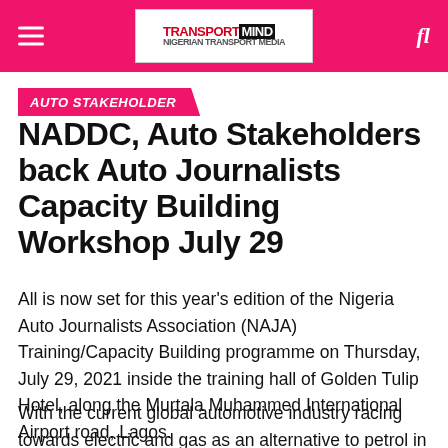AUTO STAKEHOLDER
NADDC, Auto Stakeholders back Auto Journalists Capacity Building Workshop July 29
All is now set for this year's edition of the Nigeria Auto Journalists Association (NAJA) Training/Capacity Building programme on Thursday, July 29, 2021 inside the training hall of Golden Tulip Hotel, along the Murtala Muhammed International Airport road, Lagos.
With the current global automotive industry racing towards electric and gas as an alternative to petrol in vehicular movement, the theme of year's